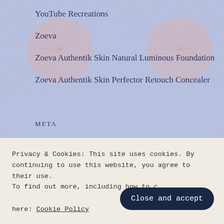YouTube Recreations
Zoeva
Zoeva Authentik Skin Natural Luminous Foundation
Zoeva Authentik Skin Perfector Retouch Concealer
META
Register
Log in
Entries feed
Privacy & Cookies: This site uses cookies. By continuing to use this website, you agree to their use. To find out more, including how to control cookies, see here: Cookie Policy
Close and accept